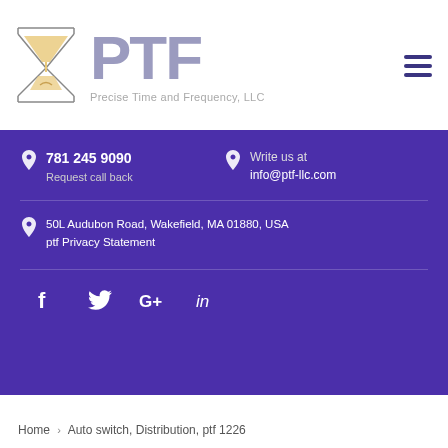[Figure (logo): PTF Precise Time and Frequency, LLC logo with hourglass icon and large PTF text]
781 245 9090
Request call back
Write us at
info@ptf-llc.com
50L Audubon Road, Wakefield, MA 01880, USA
ptf Privacy Statement
[Figure (infographic): Social media icons: Facebook, Twitter, Google+, LinkedIn]
Home > Auto switch, Distribution, ptf 1226